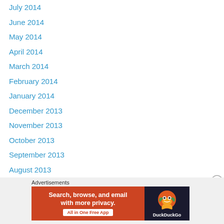July 2014
June 2014
May 2014
April 2014
March 2014
February 2014
January 2014
December 2013
November 2013
October 2013
September 2013
August 2013
July 2013
June 2013
May 2013
April 2013
March 2013
[Figure (screenshot): DuckDuckGo advertisement banner: Search, browse, and email with more privacy. All in One Free App.]